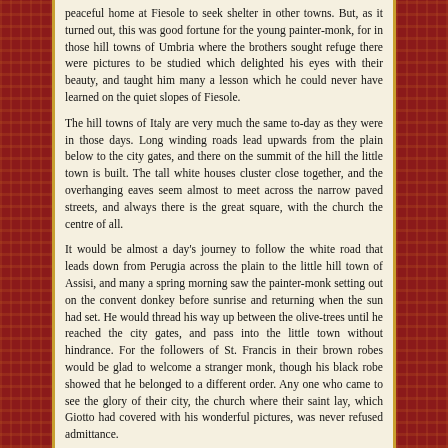peaceful home at Fiesole to seek shelter in other towns. But, as it turned out, this was good fortune for the young painter-monk, for in those hill towns of Umbria where the brothers sought refuge there were pictures to be studied which delighted his eyes with their beauty, and taught him many a lesson which he could never have learned on the quiet slopes of Fiesole.
The hill towns of Italy are very much the same to-day as they were in those days. Long winding roads lead upwards from the plain below to the city gates, and there on the summit of the hill the little town is built. The tall white houses cluster close together, and the overhanging eaves seem almost to meet across the narrow paved streets, and always there is the great square, with the church the centre of all.
It would be almost a day's journey to follow the white road that leads down from Perugia across the plain to the little hill town of Assisi, and many a spring morning saw the painter-monk setting out on the convent donkey before sunrise and returning when the sun had set. He would thread his way up between the olive-trees until he reached the city gates, and pass into the little town without hindrance. For the followers of St. Francis in their brown robes would be glad to welcome a stranger monk, though his black robe showed that he belonged to a different order. Any one who came to see the glory of their city, the church where their saint lay, which Giotto had covered with his wonderful pictures, was never refused admittance.
How often then must Fra Angelico have knelt in the dim light of that lower church of Assisi, learning his lesson on his knees, as was ever his habit. Then home again he would wend his way, his eyes filled with visions of those beautiful pictures, and his hand longing for the pencil and brush, that he might add new beauty to his own work from what he had learned.
Several years passed by, and at last the brothers were allowed to return to